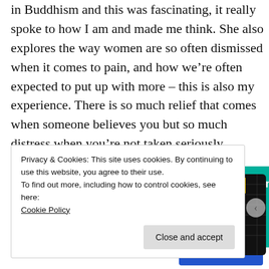in Buddhism and this was fascinating, it really spoke to how I am and made me think. She also explores the way women are so often dismissed when it comes to pain, and how we're often expected to put up with more – this is also my experience. There is so much relief that comes when someone believes you but so much distress when you're not taken seriously.
[Figure (screenshot): Advertisement banner with 'Download now' text in red and a podcast app image showing '99% INVISIBLE' on a dark grid card alongside other colorful cards]
Privacy & Cookies: This site uses cookies. By continuing to use this website, you agree to their use.
To find out more, including how to control cookies, see here: Cookie Policy
Close and accept